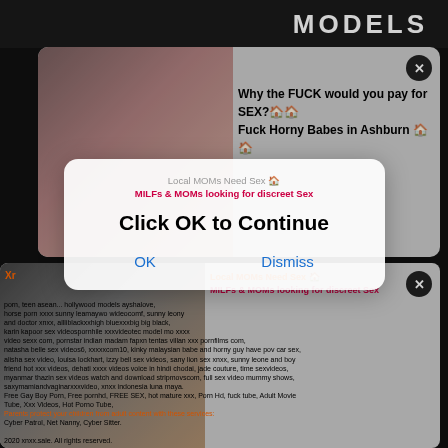[Figure (screenshot): Top banner with 'MODELS' text on dark background]
[Figure (screenshot): Ad card 1: woman photo with text 'Why the FUCK would you pay for SEX? Fuck Horny Babes in Ashburn' with close button]
[Figure (screenshot): Ad card 2: blonde woman photo with 'Local MOMs Need Sex / MILFs & MOMs looking for discreet Sex' text with close button]
Xr... full so bar cor bro hor... porn, teen asean... horse porn xxxx... and doctor xnxx,... karin kapoor sex... video sexx com, p... natasha belle sex videos6, xxxxxcom10, kinky malaysian babe and horny guy have pov car sex, alisha sex video, louisa lockhart, izzy bell sex videos, sany lion sex xnxx, sunny leone and boy friend hot xxx videos, dehati xxxx videos voice in hindi chodai, jade couture, time sexvideos, myanmar thazin sex videos watch and download stripmovscom, full sex video mummy shows, saxymamiandvaginarxxxvideo, xnxx indonesia luna maya.
Free Gay Boy Porn, Free pornhd, FREE SEX, hot mature xxx, Porn Hd, fuck tube, Adult Movie Tube, Xxx Videos, Hot Porno Tube,
Parents protect your children from adult content with these services: Cyber Patrol, Net Nanny, Cyber Sitter.
2020 xnxx.sale. All rights reserved.
Do not deny yourself the pleasure of communicating with beauties! Enter this Webcam Sex Chat with live webcam models!
[Figure (screenshot): Popup dialog: 'Local MOMs Need Sex / MILFs & MOMs looking for discreet Sex' header, large text 'Click OK to Continue', with OK and Dismiss buttons]